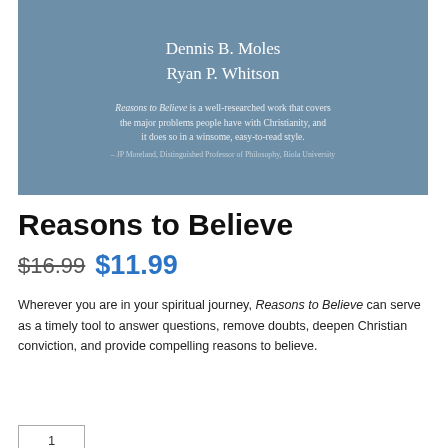[Figure (illustration): Book cover image with steel-blue background showing author names Dennis B. Moles and Ryan P. Whitson, plus a blurb from JP Moreland about Reasons to Believe]
Reasons to Believe
$16.99 $11.99
Wherever you are in your spiritual journey, Reasons to Believe can serve as a timely tool to answer questions, remove doubts, deepen Christian conviction, and provide compelling reasons to believe.